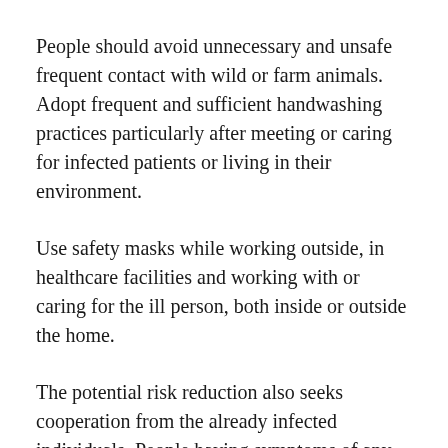People should avoid unnecessary and unsafe frequent contact with wild or farm animals. Adopt frequent and sufficient handwashing practices particularly after meeting or caring for infected patients or living in their environment.
Use safety masks while working outside, in healthcare facilities and working with or caring for the ill person, both inside or outside the home.
The potential risk reduction also seeks cooperation from the already infected individuals. People having symptoms of any